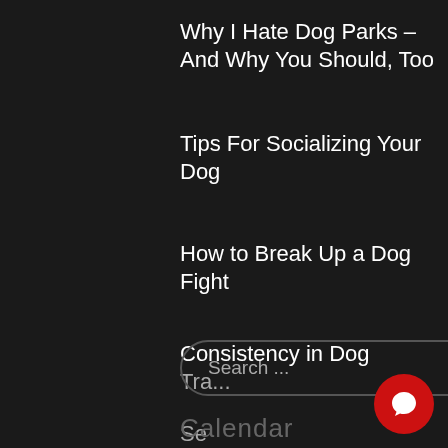Why I Hate Dog Parks – And Why You Should, Too
Tips For Socializing Your Dog
How to Break Up a Dog Fight
Consistency in Dog Training
Se...
[Figure (screenshot): Search input bar with placeholder text 'Search ...' and a red search icon on the right, dark background with rounded pill border]
Calendar
[Figure (screenshot): Chat popup overlay with close button, avatar photo of a woman, and message 'Hi there, have a question? Text us here.' plus a red circular chat FAB button]